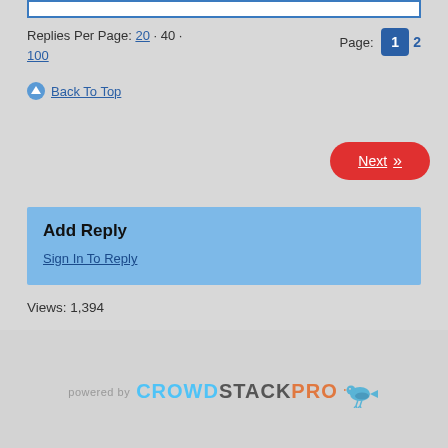Replies Per Page: 20 · 40 · 100   Page: 1  2
↑ Back To Top
Next »
Add Reply
Sign In To Reply
Views: 1,394
powered by CROWDSTACKPRO